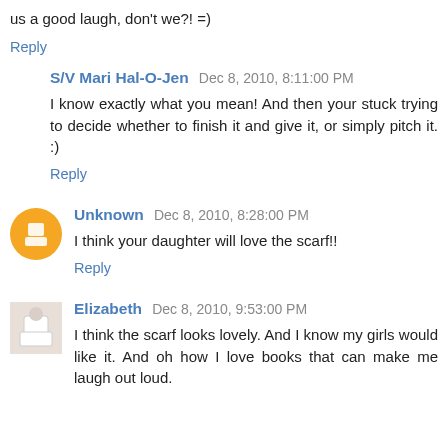us a good laugh, don't we?! =)
Reply
S/V Mari Hal-O-Jen  Dec 8, 2010, 8:11:00 PM
I know exactly what you mean! And then your stuck trying to decide whether to finish it and give it, or simply pitch it. :)
Reply
Unknown  Dec 8, 2010, 8:28:00 PM
I think your daughter will love the scarf!!
Reply
Elizabeth  Dec 8, 2010, 9:53:00 PM
I think the scarf looks lovely. And I know my girls would like it. And oh how I love books that can make me laugh out loud.